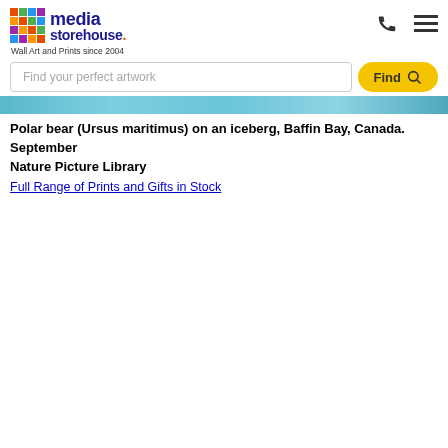media storehouse. Wall Art and Prints since 2004
Find your perfect artwork — Find button
[Figure (photo): Partial image strip showing a polar bear on an iceberg in Baffin Bay, Canada — teal/blue tones]
Polar bear (Ursus maritimus) on an iceberg, Baffin Bay, Canada. September
Nature Picture Library
Full Range of Prints and Gifts in Stock